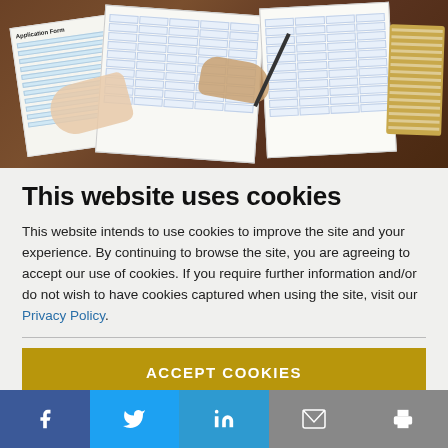[Figure (photo): Overhead view of people at a desk working with paper forms, documents, a laptop, and a notebook on a wooden table. One document visible says 'Application Form'.]
This website uses cookies
This website intends to use cookies to improve the site and your experience. By continuing to browse the site, you are agreeing to accept our use of cookies. If you require further information and/or do not wish to have cookies captured when using the site, visit our Privacy Policy.
ACCEPT COOKIES